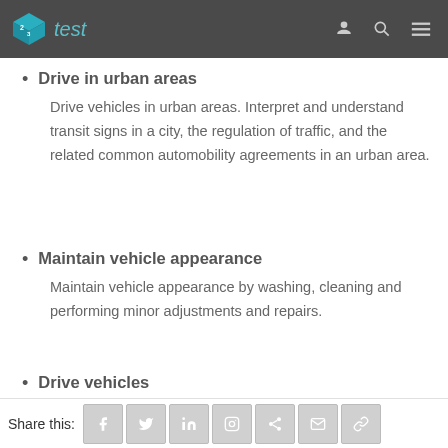123test
Drive in urban areas
Drive vehicles in urban areas. Interpret and understand transit signs in a city, the regulation of traffic, and the related common automobility agreements in an urban area.
Maintain vehicle appearance
Maintain vehicle appearance by washing, cleaning and performing minor adjustments and repairs.
Drive vehicles
Share this: